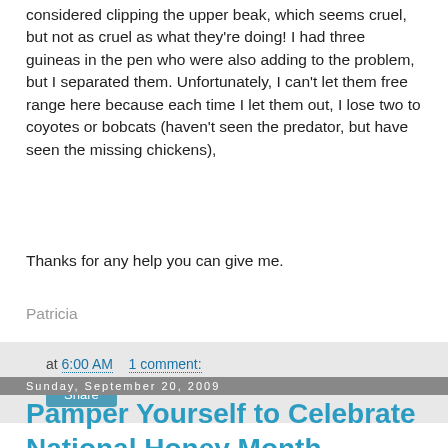considered clipping the upper beak, which seems cruel, but not as cruel as what they're doing! I had three guineas in the pen who were also adding to the problem, but I separated them. Unfortunately, I can't let them free range here because each time I let them out, I lose two to coyotes or bobcats (haven't seen the predator, but have seen the missing chickens),
Thanks for any help you can give me.
Patricia
at 6:00 AM    1 comment:
Share
Sunday, September 20, 2009
Pamper Yourself to Celebrate National Honey Month